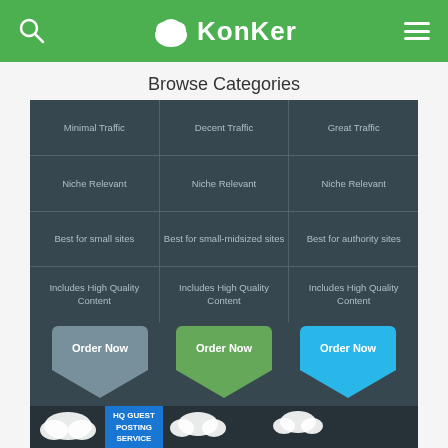KonKer
Browse Categories
[Figure (infographic): Three-column pricing/tier infographic on dark background showing Minimal Traffic, Decent Traffic, Great Traffic options with features: Niche Relevant, Best for small sites / small-midsized sites / authority sites, Includes High Quality Content. Three 'Order Now' shield/chevron buttons in grey, green, and blue. Bottom section shows HQ Guest Posting Service promo with cloud illustrations.]